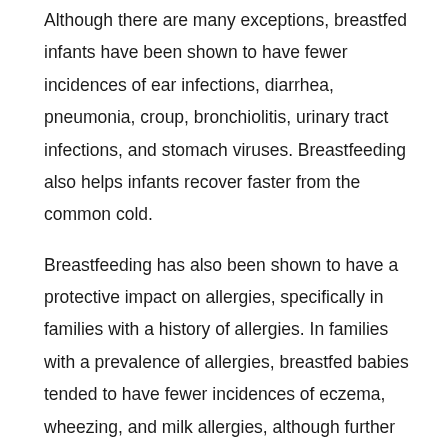Although there are many exceptions, breastfed infants have been shown to have fewer incidences of ear infections, diarrhea, pneumonia, croup, bronchiolitis, urinary tract infections, and stomach viruses. Breastfeeding also helps infants recover faster from the common cold.
Breastfeeding has also been shown to have a protective impact on allergies, specifically in families with a history of allergies. In families with a prevalence of allergies, breastfed babies tended to have fewer incidences of eczema, wheezing, and milk allergies, although further research needs to be done.
What about other illnesses such as chronic conditions?
Although there are other studies that have shown...